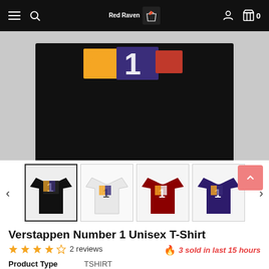Red Raven — navigation bar with hamburger, search, logo, user icon, cart (0)
[Figure (photo): Black t-shirt with colorful Number 1 / Verstappen graphic design, laid flat on grey background, main product photo]
[Figure (photo): Thumbnail strip showing 4 color variants of the Verstappen Number 1 t-shirt: black, white, dark red/maroon, dark purple/navy. Left and right carousel arrows on sides.]
Verstappen Number 1 Unisex T-Shirt
★★★★☆ 2 reviews
🔥 3 sold in last 15 hours
Product Type    TSHIRT